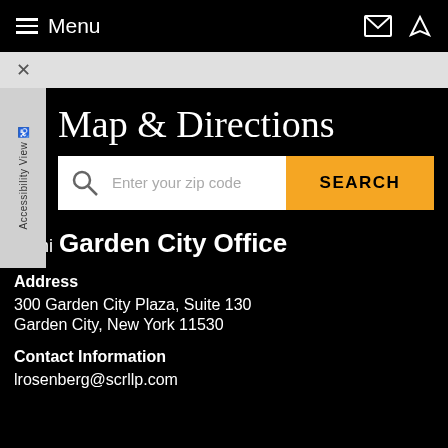≡ Menu
Map & Directions
Enter your zip code  SEARCH
-- mi  Garden City Office
Address
300 Garden City Plaza, Suite 130
Garden City, New York 11530
Contact Information
lrosenberg@scrllp.com